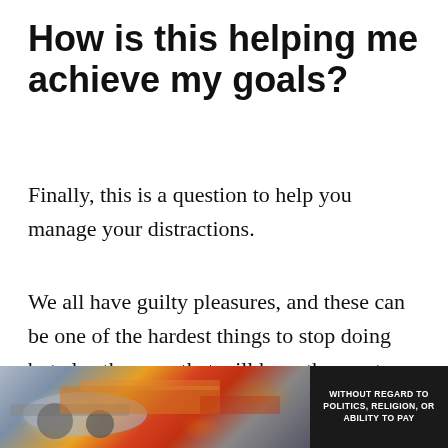How is this helping me achieve my goals?
Finally, this is a question to help you manage your distractions.
We all have guilty pleasures, and these can be one of the hardest things to stop doing but also the ones that will have the most impact.
Mine would have to be the internet – and
[Figure (photo): Advertisement banner showing an airplane being loaded with cargo, with text overlay reading 'WITHOUT REGARD TO POLITICS, RELIGION, OR ABILITY TO PAY']